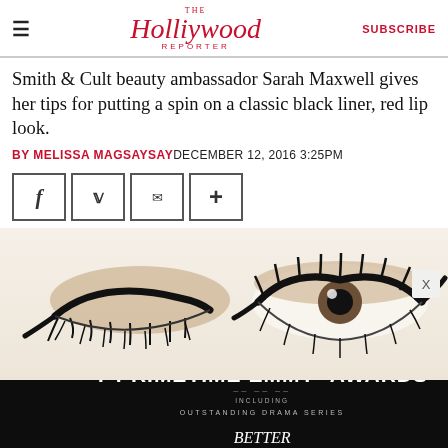The Hollywood Reporter — SUBSCRIBE
Smith & Cult beauty ambassador Sarah Maxwell gives her tips for putting a spin on a classic black liner, red lip look.
BY MELISSA MAGSAYSAY DECEMBER 12, 2016 3:25PM
[Figure (screenshot): Social share buttons for Facebook, Twitter, Email, and a plus/more button]
[Figure (photo): Close-up illustration/photo of two eyes with dramatic black liner makeup on white background — one eye closed showing eye shadow, one eye open with heavy mascara and liner]
[Figure (photo): Advertisement banner for Better Call Saul on AMC: 'NOMINATED FOR 7 PRIMETIME EMMY AWARDS INCLUDING OUTSTANDING DRAMA SERIES' with Better Call Saul logo and AMC badge, mute icon at bottom left]